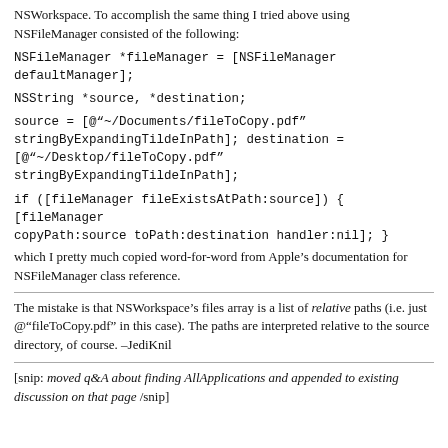NSWorkspace. To accomplish the same thing I tried above using NSFileManager consisted of the following:
NSFileManager *fileManager = [NSFileManager defaultManager];
NSString *source, *destination;
source = [@"~/Documents/fileToCopy.pdf" stringByExpandingTildeInPath]; destination = [@"~/Desktop/fileToCopy.pdf" stringByExpandingTildeInPath];
if ([fileManager fileExistsAtPath:source]) { [fileManager copyPath:source toPath:destination handler:nil]; }
which I pretty much copied word-for-word from Apple’s documentation for NSFileManager class reference.
The mistake is that NSWorkspace’s files array is a list of relative paths (i.e. just @“fileToCopy.pdf” in this case). The paths are interpreted relative to the source directory, of course. –JediKnil
[snip: moved q&A about finding AllApplications and appended to existing discussion on that page /snip]